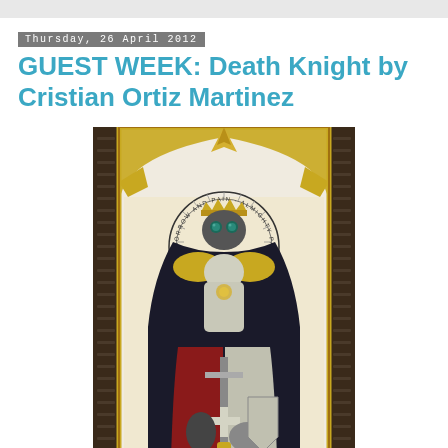Thursday, 26 April 2012
GUEST WEEK: Death Knight by Cristian Ortiz Martinez
[Figure (illustration): Fantasy illustration of a Death Knight / dark paladin figure in ornate black and gold armor wearing a crown, holding a sword, depicted in an Art Nouveau style within a decorative gothic arch frame with the text 'SORROW AND PAIN - ALMIGHTY PALADIN OF DARKNESS' in a circular halo. The figure wears a dark cloak with red lining and holds religious/heraldic symbols. The frame has dark carved pillars on either side and gold architectural details.]